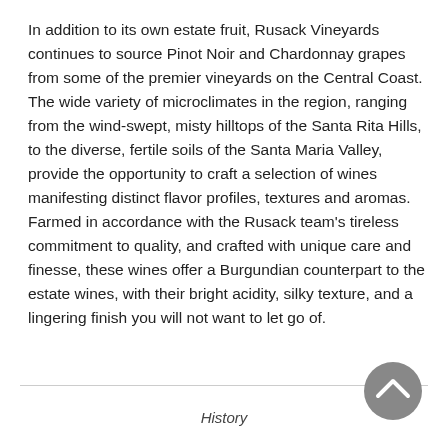In addition to its own estate fruit, Rusack Vineyards continues to source Pinot Noir and Chardonnay grapes from some of the premier vineyards on the Central Coast. The wide variety of microclimates in the region, ranging from the wind-swept, misty hilltops of the Santa Rita Hills, to the diverse, fertile soils of the Santa Maria Valley, provide the opportunity to craft a selection of wines manifesting distinct flavor profiles, textures and aromas. Farmed in accordance with the Rusack team's tireless commitment to quality, and crafted with unique care and finesse, these wines offer a Burgundian counterpart to the estate wines, with their bright acidity, silky texture, and a lingering finish you will not want to let go of.
History